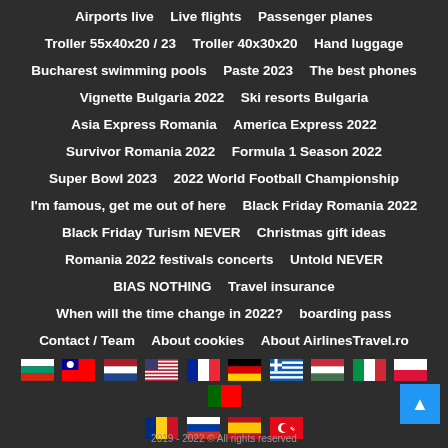Airports live   Live flights   Passenger planes
Troller 55x40x20 / 23   Troller 40x30x20   Hand luggage
Bucharest swimming pools   Paste 2023   The best phones
Vignette Bulgaria 2022   Ski resorts Bulgaria
Asia Express Romania   America Express 2022
Survivor Romania 2022   Formula 1 Season 2022
Super Bowl 2023   2022 World Football Championship
I'm famous, get me out of here   Black Friday Romania 2022
Black Friday Turism NEVER   Christmas gift ideas
Romania 2022 festivals concerts   Untold NEVER
BIAS NOTHING   Travel insurance
When will the time change in 2022?   boarding pass
Contact / Team   About cookies   About AirlinesTravel.ro
[Figure (infographic): Row of country flags: Bulgaria, Taiwan, Netherlands, USA, France, Germany, Greece, Hungary, Italy, Poland, Portugal in first row; Romania, Russia, Spain, Turkey in second row]
2019 - 2022 © All rights reserved